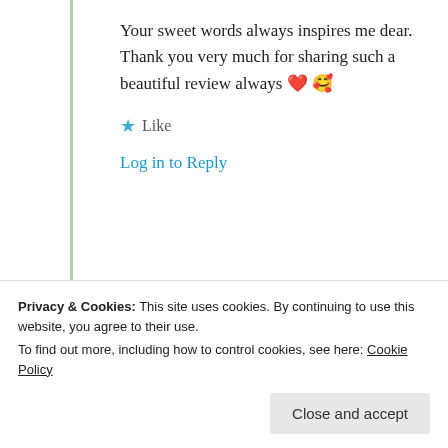Your sweet words always inspires me dear. Thank you very much for sharing such a beautiful review always ❤️ 🥰
★ Like
Log in to Reply
Advertisements
[Figure (other): Advertisement banner with text: Build a writing habit. Post on]
Privacy & Cookies: This site uses cookies. By continuing to use this website, you agree to their use. To find out more, including how to control cookies, see here: Cookie Policy
Close and accept